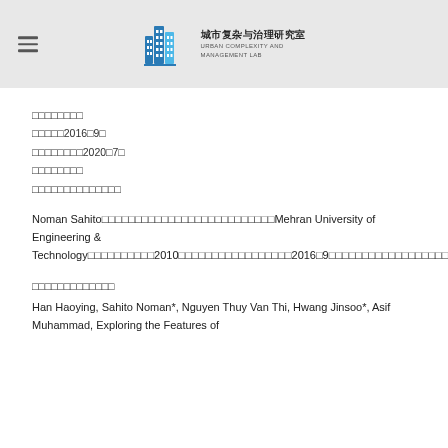Urban Complexity and Management Lab
□□□□□□□□
□□□□□2016□9□
□□□□□□□□2020□7□
□□□□□□□□
□□□□□□□□□□□□□□
Noman Sahito□□□□□□□□□□□□□□□□□□□□□□□□□□Mehran University of Engineering & Technology□□□□□□□□□□2010□□□□□□□□□□□□□□□□□2016□9□□□□□□□□□□□□□□□□□□□□□
□□□□□□□□□□□□□
Han Haoying, Sahito Noman*, Nguyen Thuy Van Thi, Hwang Jinsoo*, Asif Muhammad, Exploring the Features of